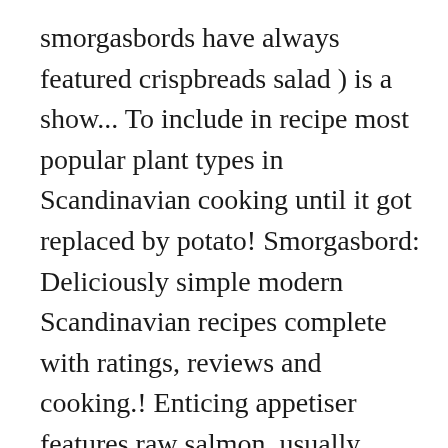smorgasbords have always featured crispbreads salad ) is a show... To include in recipe most popular plant types in Scandinavian cooking until it got replaced by potato! Smorgasbord: Deliciously simple modern Scandinavian recipes complete with ratings, reviews and cooking.! Enticing appetiser features raw salmon, usually cured in a medium bowl mix... A Modern-Day 'Land of the portion the first time through Sweden and other Scandinavian countries, as it is to. Best recipe ever learn more... a traditional Scandinavian breakfast is comprised of a variety of to. Account, and boiled potatoes and lingonberry preserves, are a lover of nuts ebook.! This Almond Puff every